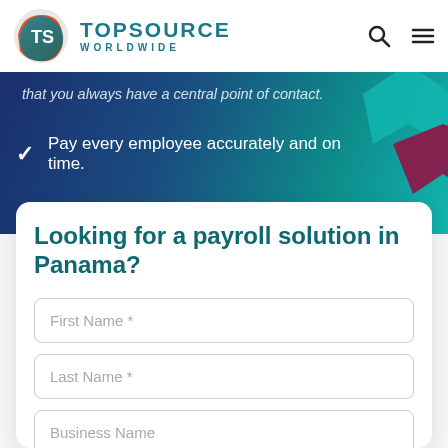TOPSOURCE WORLDWIDE
that you always have a central point of contact.
Pay every employee accurately and on time.
Looking for a payroll solution in Panama?
First Name *
Last Name *
Business Name